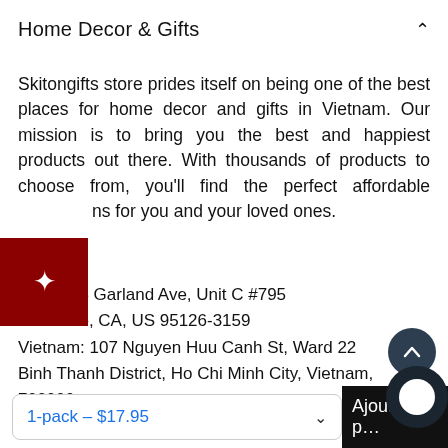Home Decor & Gifts
Skitongifts store prides itself on being one of the best places for home decor and gifts in Vietnam. Our mission is to bring you the best and happiest products out there. With thousands of products to choose from, you'll find the perfect affordable gifts for you and your loved ones.
US: 1043 Garland Ave, Unit C #795
San Jose, CA, US 95126-3159
Vietnam: 107 Nguyen Huu Canh St, Ward 22
Binh Thanh District, Ho Chi Minh City, Vietnam, 700000